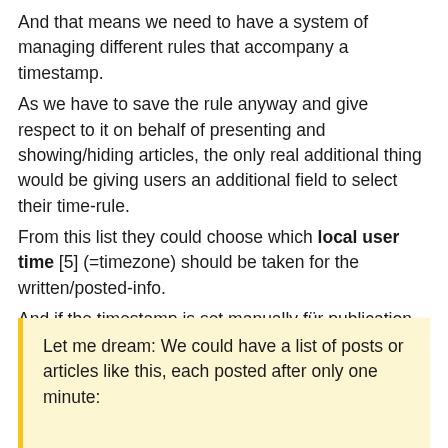And that means we need to have a system of managing different rules that accompany a timestamp.
As we have to save the rule anyway and give respect to it on behalf of presenting and showing/hiding articles, the only real additional thing would be giving users an additional field to select their time-rule.
From this list they could choose which local user time [5] (=timezone) should be taken for the written/posted-info.
And if the timestamp is set manually für publication, it will publish, when the timestamp meets the actual real time of its chosen timezone.
Let me dream: We could have a list of posts or articles like this, each posted after only one minute: